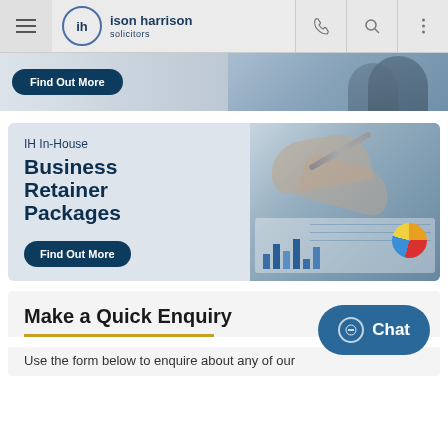ison harrison solicitors
[Figure (photo): Partial hero image with Find Out More button, showing business professional in background]
[Figure (photo): IH In-House Business Retainer Packages banner with hands holding pen over business charts, with Find Out More button]
Make a Quick Enquiry
Use the form below to enquire about any of our